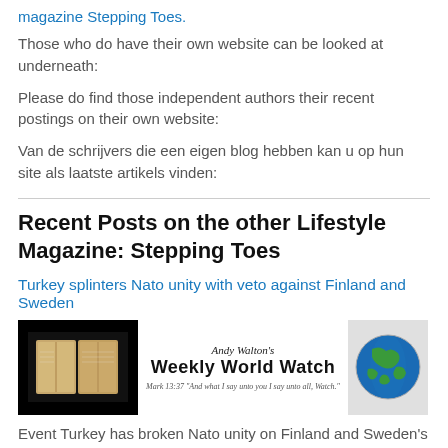magazine Stepping Toes.
Those who do have their own website can be looked at underneath:
Please do find those independent authors their recent postings on their own website:
Van de schrijvers die een eigen blog hebben kan u op hun site als laatste artikels vinden:
Recent Posts on the other Lifestyle Magazine: Stepping Toes
Turkey splinters Nato unity with veto against Finland and Sweden
[Figure (illustration): Andy Walton's Weekly World Watch banner with an open Bible image on the left, the title text in the center, a scripture reference below, and a globe image on the right.]
Event Turkey has broken Nato unity on Finland and Sweden's push to